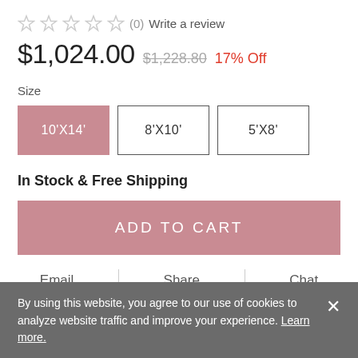★★★★★ (0) Write a review
$1,024.00 $1,228.80 17% Off
Size
10'X14' | 8'X10' | 5'X8'
In Stock & Free Shipping
ADD TO CART
Email   Share   Chat
By using this website, you agree to our use of cookies to analyze website traffic and improve your experience. Learn more.